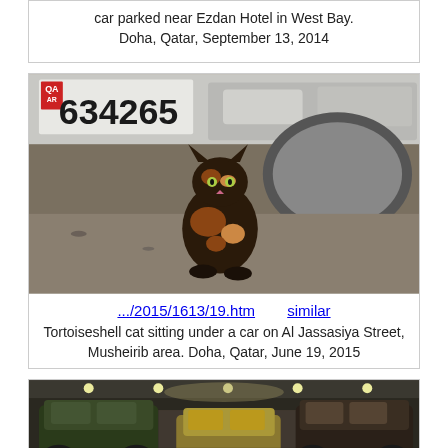car parked near Ezdan Hotel in West Bay. Doha, Qatar, September 13, 2014
[Figure (photo): Tortoiseshell cat sitting under a white car with license plate 634265, Musheirib area, Doha, Qatar]
.../2015/1613/19.htm    similar
Tortoiseshell cat sitting under a car on Al Jassasiya Street, Musheirib area. Doha, Qatar, June 19, 2015
[Figure (photo): Interior of a classic car museum showing vintage automobiles in a grand hall with ornate ceiling and lighting]